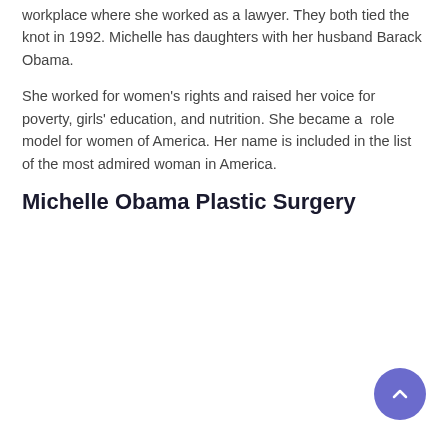workplace where she worked as a lawyer. They both tied the knot in 1992. Michelle has daughters with her husband Barack Obama.
She worked for women's rights and raised her voice for poverty, girls' education, and nutrition. She became a  role model for women of America. Her name is included in the list of the most admired woman in America.
Michelle Obama Plastic Surgery